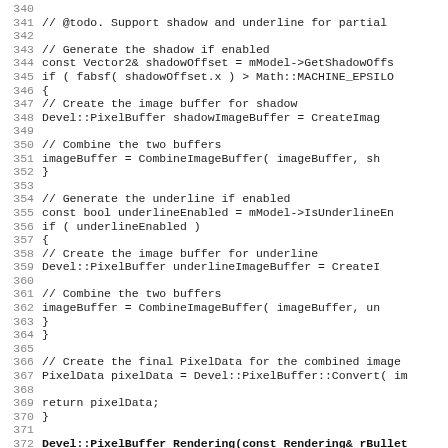Source code listing, lines 340–371
340
341     // @todo. Support shadow and underline for partial
342
343     // Generate the shadow if enabled
344     const Vector2& shadowOffset = mModel->GetShadowOffs
345     if ( fabsf( shadowOffset.x ) > Math::MACHINE_EPSILO
346     {
347         // Create the image buffer for shadow
348         Devel::PixelBuffer shadowImageBuffer = CreateImag
349
350         // Combine the two buffers
351         imageBuffer = CombineImageBuffer( imageBuffer, sh
352     }
353
354     // Generate the underline if enabled
355     const bool underlineEnabled = mModel->IsUnderlineEn
356     if ( underlineEnabled )
357     {
358         // Create the image buffer for underline
359         Devel::PixelBuffer underlineImageBuffer = CreateI
360
361         // Combine the two buffers
362         imageBuffer = CombineImageBuffer( imageBuffer, un
363     }
364 }
365
366     // Create the final PixelData for the combined image
367     PixelData pixelData = Devel::PixelBuffer::Convert( im
368
369     return pixelData;
370 }
371